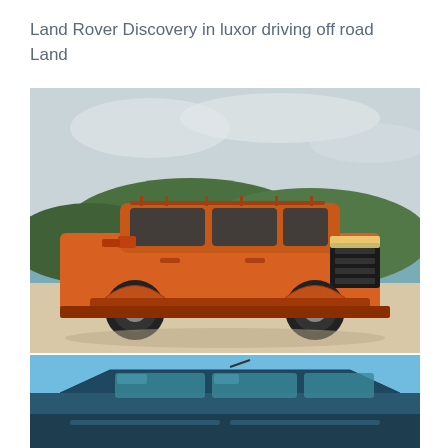Land Rover Discovery in luxor driving off road
Land
[Figure (photo): Orange/amber 4x4 pickup truck (Ford Ranger style) parked near water with green forested hills in background under cloudy sky]
[Figure (photo): Dark blue/teal SUV or 4x4 vehicle against bright blue sky, showing roof and upper body]